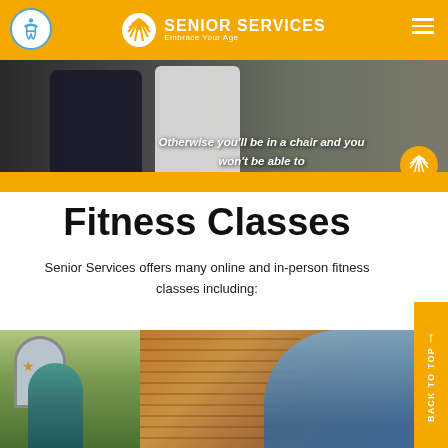Senior Services — Embrace Your Age
[Figure (photo): Banner photo with two people and overlay text: 'Otherwise you'll be in a chair and you won't be able to']
Fitness Classes
Senior Services offers many online and in-person fitness classes including:
[Figure (photo): Outdoor fitness class photo showing instructor and participants near a brick building]